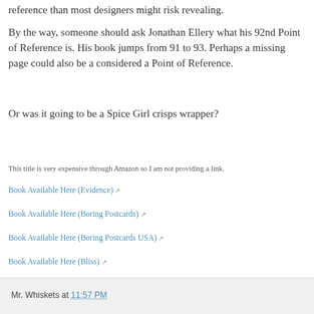reference than most designers might risk revealing.
By the way, someone should ask Jonathan Ellery what his 92nd Point of Reference is. His book jumps from 91 to 93. Perhaps a missing page could also be a considered a Point of Reference.
Or was it going to be a Spice Girl crisps wrapper?
This title is very expensive through Amazon so I am not providing a link.
Book Available Here (Evidence)
Book Available Here (Boring Postcards)
Book Available Here (Boring Postcards USA)
Book Available Here (Bliss)
Mr. Whiskets at 11:57 PM